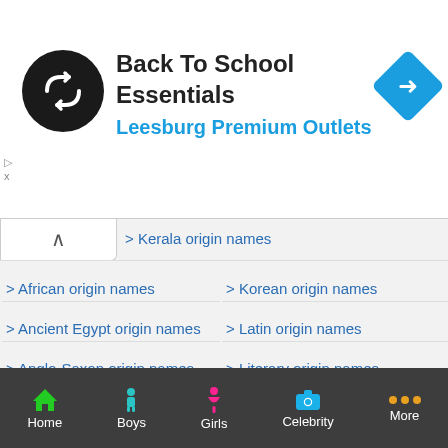[Figure (screenshot): Advertisement banner for Back To School Essentials at Leesburg Premium Outlets with circular logo and navigation arrow icon]
inal origin names
Kerala origin names
African origin names
Korean origin names
Ancient Egypt origin names
Latin origin names
Anglo-Saxon origin names
Literary origin names
Arabic origin names
Lithuanian origin names
Aramaic origin names
Maori origin names
Assyrian origin names
Modern Jewish origin names
Australian origin names
Native American origin names
Aztec origin names
Nigerian origin names
Basque origin names
Norse origin names
Home  Boys  Girls  Celebrity  More